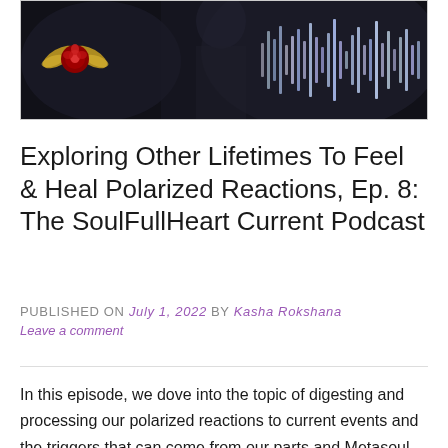[Figure (photo): Podcast cover image showing a person in dark clothing with a winged rose logo on the left and audio waveform visualization on a dark background]
Exploring Other Lifetimes To Feel & Heal Polarized Reactions, Ep. 8: The SoulFullHeart Current Podcast
PUBLISHED ON July 1, 2022 by Kasha Rokshana
Leave a comment
In this episode, we dove into the topic of digesting and processing our polarized reactions to current events and the triggers that can come from our parts and Metasoul aspects in other lifetimes. We talked about what this process is like from masculine and feminine perspectives, using the current uproar around the 'Roe v Wade' situation as a springboard to highlight